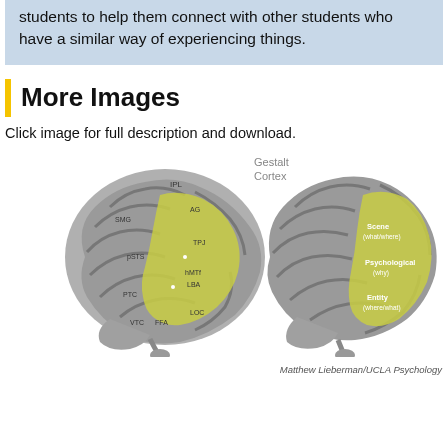students to help them connect with other students who have a similar way of experiencing things.
More Images
Click image for full description and download.
[Figure (illustration): Two brain diagrams side by side. Left brain shows labeled regions including IPL, SMG, AG, TPJ, pSTS, hMTf, LBA, PTC, VTC, FFA, LOC highlighted in yellow-green. Right brain shows Scene (what/where), Psychological (why), Entity (where/what) regions highlighted in yellow-green. Label 'Gestalt Cortex' appears between the two brains. Caption reads 'Matthew Lieberman/UCLA Psychology'.]